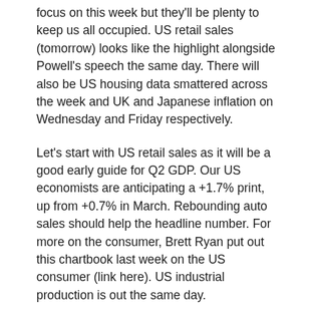focus on this week but they'll be plenty to keep us all occupied. US retail sales (tomorrow) looks like the highlight alongside Powell's speech the same day. There will also be US housing data smattered across the week and UK and Japanese inflation on Wednesday and Friday respectively.
Let's start with US retail sales as it will be a good early guide for Q2 GDP. Our US economists are anticipating a +1.7% print, up from +0.7% in March. Rebounding auto sales should help the headline number. For more on the consumer, Brett Ryan put out this chartbook last week on the US consumer (link here). US industrial production is out the same day.
We have a long list of central bank speakers this week headed by Powell and Lagarde (tomorrow) and BoE Bailey today. There are many more spread across the